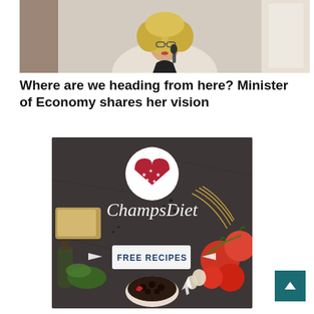[Figure (photo): Woman with curly blonde hair and glasses speaking into a microphone, wearing a light blazer, standing at what appears to be a podium or presentation setting.]
Where are we heading from here? Minister of Economy shares her vision
[Figure (infographic): ChampsDiet advertisement banner featuring food items (tomatoes, bread, olive oil, pasta, herbs, berries) on a dark stone background. Contains a circular logo with a heart shaped American flag and chef hat, the text 'ChampsDiet' in cursive, and a white button labeled 'FREE RECIPES' with arrow graphics.]